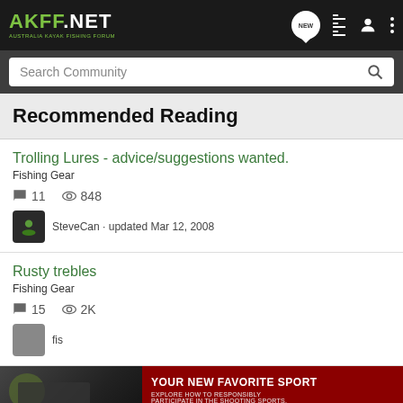AKFF.NET - AUSTRALIA KAYAK FISHING FORUM
Search Community
Recommended Reading
Trolling Lures - advice/suggestions wanted.
Fishing Gear
11 comments · 848 views
SteveCan · updated Mar 12, 2008
Rusty trebles
Fishing Gear
15 comments · 2K views
fis...
[Figure (screenshot): Advertisement banner: YOUR NEW FAVORITE SPORT - EXPLORE HOW TO RESPONSIBLY PARTICIPATE IN THE SHOOTING SPORTS. START HERE!]